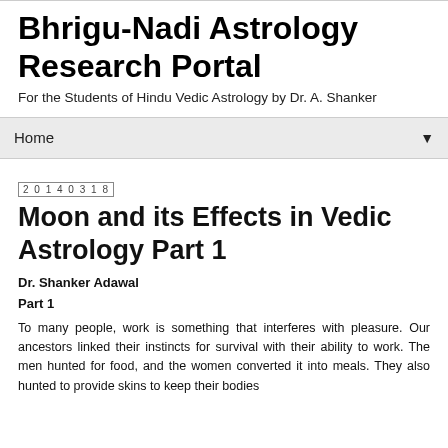Bhrigu-Nadi Astrology Research Portal
For the Students of Hindu Vedic Astrology by Dr. A. Shanker
Home ▼
20140318
Moon and its Effects in Vedic Astrology Part 1
Dr. Shanker Adawal
Part 1
To many people, work is something that interferes with pleasure. Our ancestors linked their instincts for survival with their ability to work. The men hunted for food, and the women converted it into meals. They also hunted to provide skins to keep their bodies